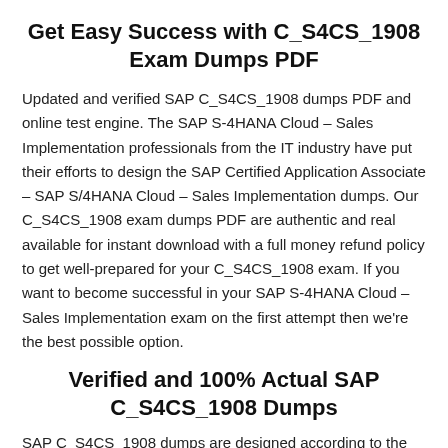Get Easy Success with C_S4CS_1908 Exam Dumps PDF
Updated and verified SAP C_S4CS_1908 dumps PDF and online test engine. The SAP S-4HANA Cloud – Sales Implementation professionals from the IT industry have put their efforts to design the SAP Certified Application Associate – SAP S/4HANA Cloud – Sales Implementation dumps. Our C_S4CS_1908 exam dumps PDF are authentic and real available for instant download with a full money refund policy to get well-prepared for your C_S4CS_1908 exam. If you want to become successful in your SAP S-4HANA Cloud – Sales Implementation exam on the first attempt then we're the best possible option.
Verified and 100% Actual SAP C_S4CS_1908 Dumps
SAP C_S4CS_1908 dumps are designed according to the latest syllabus to ensure your success in the first attempt with high